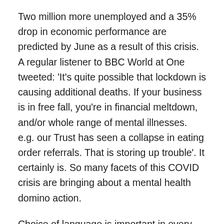Two million more unemployed and a 35% drop in economic performance are predicted by June as a result of this crisis. A regular listener to BBC World at One tweeted: 'It's quite possible that lockdown is causing additional deaths. If your business is in free fall, you're in financial meltdown, and/or whole range of mental illnesses. e.g. our Trust has seen a collapse in eating order referrals. That is storing up trouble'. It certainly is. So many facets of this COVID crisis are bringing about a mental health domino action.
Choice of language is important in every field, conveying powerful messages about the beliefs of the speaker or speakers. COVID has thrown up some good examples, eg criticism levelled at politicians and the media for using bellicose terms ('it's war', 'it's a battle' or about the PM 'he's a fighter') and drawing comparisons